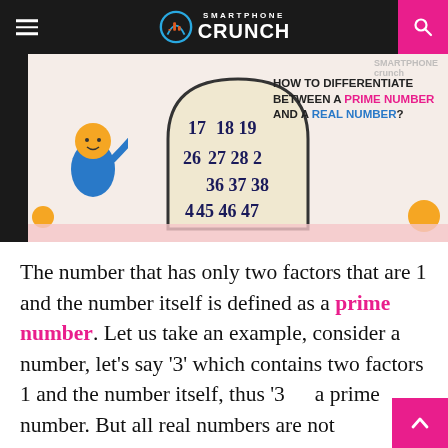SMARTPHONE CRUNCH
[Figure (illustration): Infographic showing a stone tablet with numbers 17-47 and a cartoon character pointing at it, with text 'HOW TO DIFFERENTIATE BETWEEN A PRIME NUMBER AND A REAL NUMBER?']
The number that has only two factors that are 1 and the number itself is defined as a prime number. Let us take an example, consider a number, let’s say ‘3’ which contains two factors 1 and the number itself, thus ‘3’ a prime number. But all real numbers are not